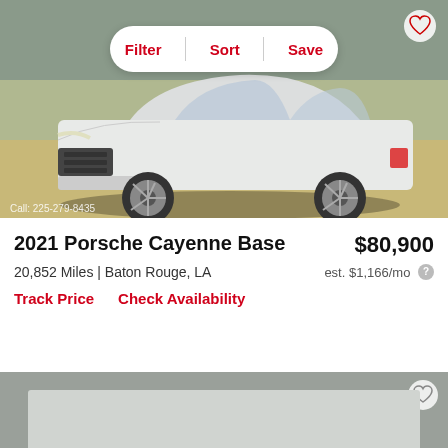[Figure (photo): White 2021 Porsche Cayenne Base SUV photographed outdoors in a parking area, front 3/4 view. Filter/Sort/Save bar overlay at top, phone number watermark at bottom left.]
2021 Porsche Cayenne Base
$80,900
20,852 Miles | Baton Rouge, LA
est. $1,166/mo
Track Price   Check Availability
[Figure (photo): Partial preview of the next car listing image, mostly gray/placeholder.]